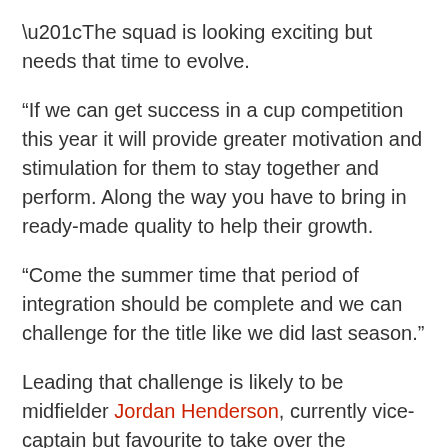“The squad is looking exciting but needs that time to evolve.
“If we can get success in a cup competition this year it will provide greater motivation and stimulation for them to stay together and perform. Along the way you have to bring in ready-made quality to help their growth.
“Come the summer time that period of integration should be complete and we can challenge for the title like we did last season.”
Leading that challenge is likely to be midfielder Jordan Henderson, currently vice-captain but favourite to take over the armband when Steven